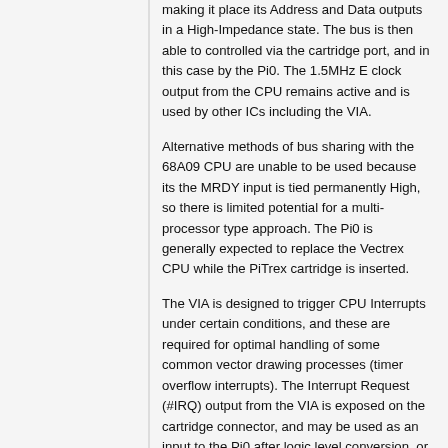making it place its Address and Data outputs in a High-Impedance state. The bus is then able to controlled via the cartridge port, and in this case by the Pi0. The 1.5MHz E clock output from the CPU remains active and is used by other ICs including the VIA.
Alternative methods of bus sharing with the 68A09 CPU are unable to be used because its the MRDY input is tied permanently High, so there is limited potential for a multi-processor type approach. The Pi0 is generally expected to replace the Vectrex CPU while the PiTrex cartridge is inserted.
The VIA is designed to trigger CPU Interrupts under certain conditions, and these are required for optimal handling of some common vector drawing processes (timer overflow interrupts). The Interrupt Request (#IRQ) output from the VIA is exposed on the cartridge connector, and may be used as an input to the Pi0 after logic level conversion, or used by the PiTrex hardware to trigger a prepared read or write operation immediately (without waiting for the Pi0 to respond).
PiTrex Hardware Designs